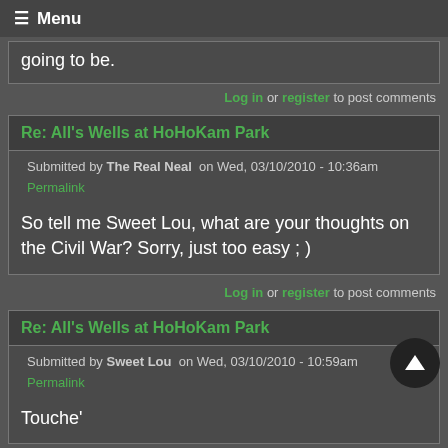≡ Menu
going to be.
Log in or register to post comments
Re: All's Wells at HoHoKam Park
Submitted by The Real Neal on Wed, 03/10/2010 - 10:36am
Permalink
So tell me Sweet Lou, what are your thoughts on the Civil War? Sorry, just too easy ; )
Log in or register to post comments
Re: All's Wells at HoHoKam Park
Submitted by Sweet Lou on Wed, 03/10/2010 - 10:59am
Permalink
Touche'
Log in or register to post comments
Re: All's Wells at HoHoKam Park
Submitted by navigator on Wed, 03/10/2010 - 11:28am
Permalink